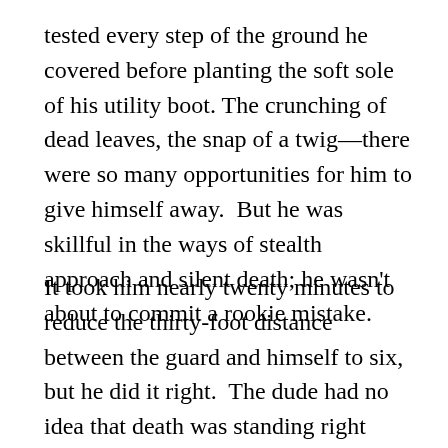tested every step of the ground he covered before planting the soft sole of his utility boot. The crunching of dead leaves, the snap of a twig—there were so many opportunities for him to give himself away.  But he was skillful in the ways of stealth approach and silent death; he wasn't about to commit a rookie mistake.
It took him nearly twenty minutes to reduce the thirty-foot distance between the guard and himself to six, but he did it right.  The dude had no idea that death was standing right behind him.